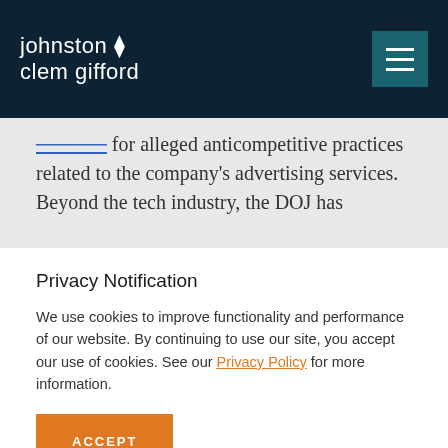johnston clem gifford
anticompetitive practices related to the company's advertising services. Beyond the tech industry, the DOJ has
Privacy Notification
We use cookies to improve functionality and performance of our website. By continuing to use our site, you accept our use of cookies. See our Privacy Policy for more information.
ACCEPT